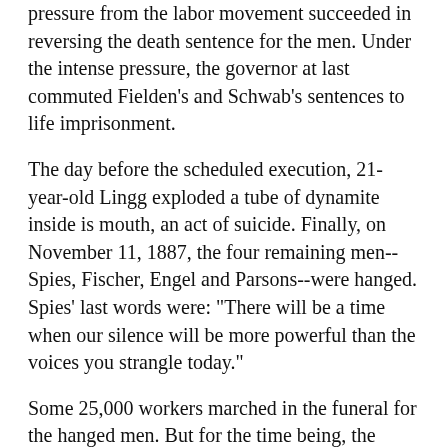pressure from the labor movement succeeded in reversing the death sentence for the men. Under the intense pressure, the governor at last commuted Fielden's and Schwab's sentences to life imprisonment.
The day before the scheduled execution, 21-year-old Lingg exploded a tube of dynamite inside is mouth, an act of suicide. Finally, on November 11, 1887, the four remaining men--Spies, Fischer, Engel and Parsons--were hanged. Spies' last words were: "There will be a time when our silence will be more powerful than the voices you strangle today."
Some 25,000 workers marched in the funeral for the hanged men. But for the time being, the struggle for the eight-hour day had been lost.
[Figure (other): Two small red squares used as a section divider/ornament]
FOLLOWING THE Haymarket incident, police--using